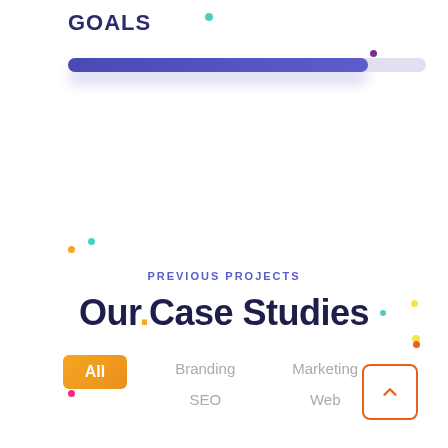GOALS
[Figure (infographic): A horizontal progress bar, approximately 84% filled, with a blue/indigo gradient fill and a light grey unfilled portion, with a subtle purple glow beneath.]
PREVIOUS PROJECTS
Our.Case Studies
All
Branding
Marketing
SEO
Web